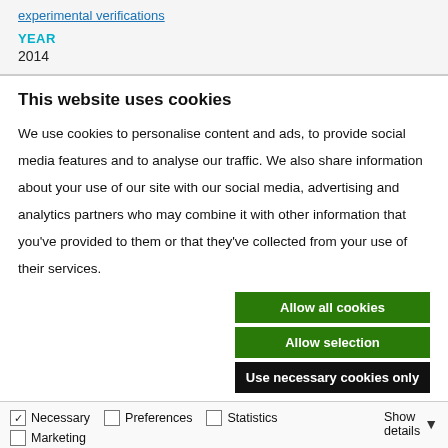experimental verifications
YEAR
2014
This website uses cookies
We use cookies to personalise content and ads, to provide social media features and to analyse our traffic. We also share information about your use of our site with our social media, advertising and analytics partners who may combine it with other information that you've provided to them or that they've collected from your use of their services.
Allow all cookies
Allow selection
Use necessary cookies only
Necessary  Preferences  Statistics  Marketing  Show details